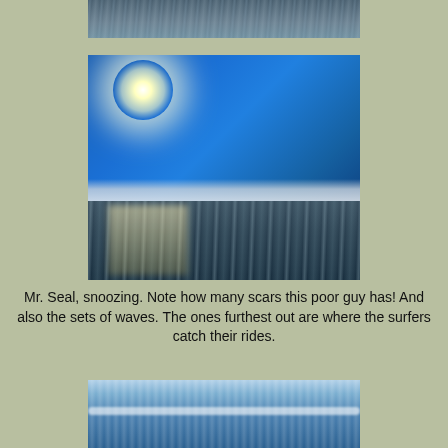[Figure (photo): Partial view of ocean surface with rippled water, dark tones, shot from close to water level — top portion of a photo of a seal snoozing on the water.]
[Figure (photo): Ocean scene with brilliant sun shining in upper left corner creating a glare, dramatic blue sky with large white cumulus clouds on the horizon, sparkling ocean water below reflecting sunlight.]
Mr. Seal, snoozing. Note how many scars this poor guy has! And also the sets of waves. The ones furthest out are where the surfers catch their rides.
[Figure (photo): Ocean horizon scene with light blue sky, dark blue ocean water, and visible wave sets in the distance.]